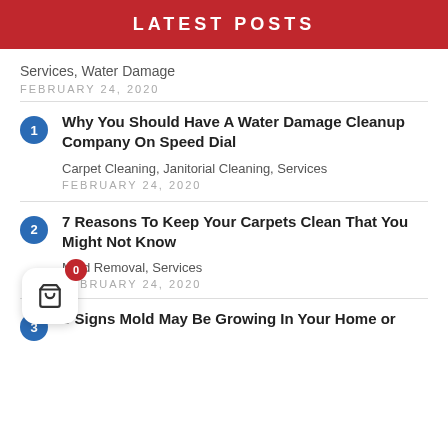LATEST POSTS
Services, Water Damage
FEBRUARY 24, 2020
1 Why You Should Have A Water Damage Cleanup Company On Speed Dial — Carpet Cleaning, Janitorial Cleaning, Services — FEBRUARY 24, 2020
2 7 Reasons To Keep Your Carpets Clean That You Might Not Know — Mold Removal, Services — FEBRUARY 24, 2020
3 8 Signs Mold May Be Growing In Your Home or